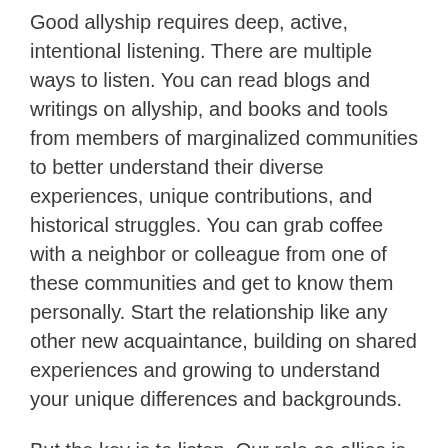Good allyship requires deep, active, intentional listening. There are multiple ways to listen. You can read blogs and writings on allyship, and books and tools from members of marginalized communities to better understand their diverse experiences, unique contributions, and historical struggles. You can grab coffee with a neighbor or colleague from one of these communities and get to know them personally. Start the relationship like any other new acquaintance, building on shared experiences and growing to understand your unique differences and backgrounds.
But the key is to listen. Our role as allies is not to enter new and unfamiliar spaces with answers and information from our personal experiences, but to listen twice as much as we speak. To ask